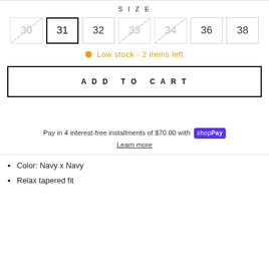SIZE
30 (unavailable), 31 (selected), 32, 33 (unavailable), 34 (unavailable), 36, 38
Low stock - 2 items left
ADD TO CART
Pay in 4 interest-free installments of $70.00 with shop Pay
Learn more
Color: Navy x Navy
Relax tapered fit